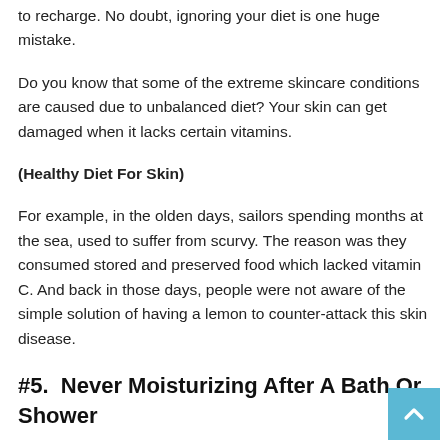to recharge. No doubt, ignoring your diet is one huge mistake.
Do you know that some of the extreme skincare conditions are caused due to unbalanced diet? Your skin can get damaged when it lacks certain vitamins.
(Healthy Diet For Skin)
For example, in the olden days, sailors spending months at the sea, used to suffer from scurvy. The reason was they consumed stored and preserved food which lacked vitamin C. And back in those days, people were not aware of the simple solution of having a lemon to counter-attack this skin disease.
#5.  Never Moisturizing After A Bath Or Shower